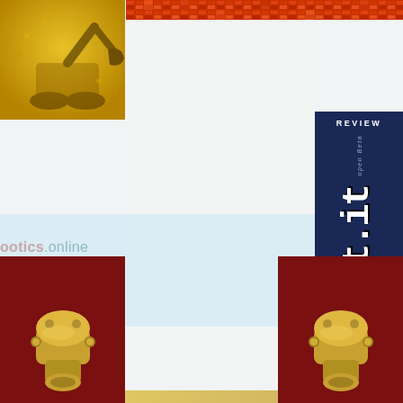[Figure (illustration): Yellow/gold toned illustration of an excavator or construction machine arm on textured background, top-left corner]
[Figure (illustration): Orange and red mosaic/pixel strip banner across the top right of the page]
[Figure (illustration): Dark navy blue sidebar panel on the right with 'REVIEW' header, 'open Beta' rotated text, and large rotated stylized text logo '8bit.it']
ootics.online
[Figure (illustration): Dark red/maroon square image with gold metallic robot/machine component, bottom-left]
[Figure (illustration): Dark red/maroon square image with gold metallic robot/machine component, bottom-right]